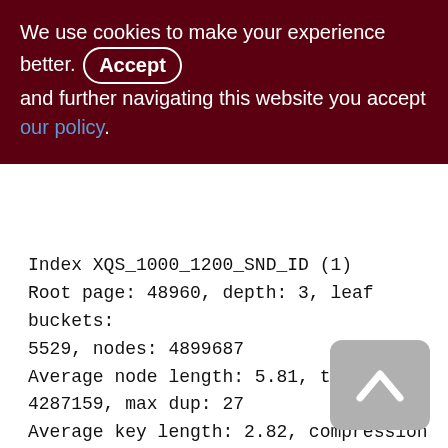We use cookies to make your experience better. By Accepting and further navigating this website you accept our policy.
Index XQS_1000_1200_SND_ID (1)
Root page: 48960, depth: 3, leaf buckets: 5529, nodes: 4899687
Average node length: 5.81, total dup: 4287159, max dup: 27
Average key length: 2.82, compression ratio: 3.19
Average prefix length: 8.30, average data length: 0.70
Clustering factor: 852345, ratio: 0.17
Fill distribution:
0 - 19% = 30